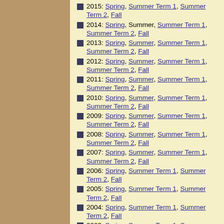2015: Spring, Summer Term 1, Summer Term 2, Fall
2014: Spring, Summer, Summer Term 1, Summer Term 2, Fall
2013: Spring, Summer, Summer Term 1, Summer Term 2, Fall
2012: Spring, Summer, Summer Term 1, Summer Term 2, Fall
2011: Spring, Summer, Summer Term 1, Summer Term 2, Fall
2010: Spring, Summer, Summer Term 1, Summer Term 2, Fall
2009: Spring, Summer, Summer Term 1, Summer Term 2, Fall
2008: Spring, Summer, Summer Term 1, Summer Term 2, Fall
2007: Spring, Summer, Summer Term 1, Summer Term 2, Fall
2006: Spring, Summer Term 1, Summer Term 2, Fall
2005: Spring, Summer Term 1, Summer Term 2, Fall
2004: Spring, Summer Term 1, Summer Term 2, Fall
2003: Spring, Summer Term 1, Summer Term 2, Fall
2002: Spring, Summer, Summer Term